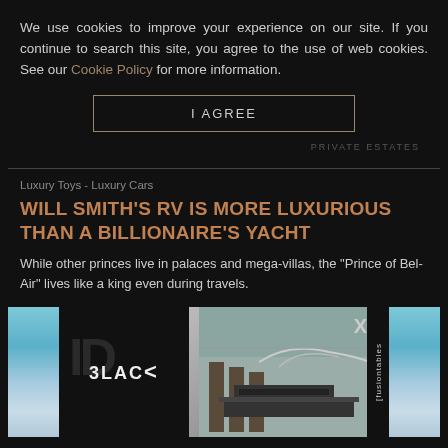We use cookies to improve your experience on our site. If you continue to search this site, you agree to the use of web cookies. See our Cookie Policy for more information.
I AGREE
PRIVATE ESTATES
Luxury Toys - Luxury Cars
WILL SMITH'S RV IS MORE LUXURIOUS THAN A BILLIONAIRE'S YACHT
While other princes live in palaces and mega-villas, the "Prince of Bel-Air" lives like a king even during travels.
[Figure (photo): Advertisement image showing a luxury interior design with modern furniture and the text 'BLACK' and 'fusiontables X' branding over a scenic background with water and sky.]